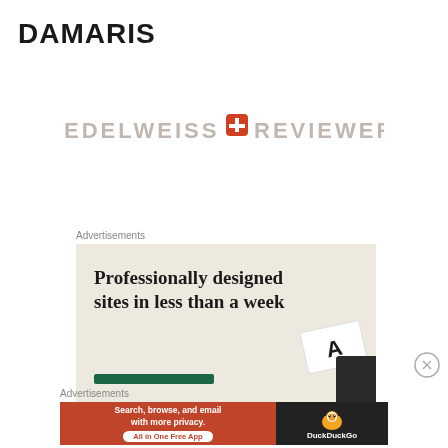DAMARIS
[Figure (logo): Edelweiss+ Reviewer logo with orange/red plus sign icon between 'EDELWEISS' and 'REVIEWER' in gray uppercase letters]
Advertisements
[Figure (other): Advertisement banner: beige background with serif text 'Professionally designed sites in less than a week', dark green button bar, and card/typography illustration on the right side]
Advertisements
[Figure (other): DuckDuckGo advertisement: orange section reading 'Search, browse, and email with more privacy. All in One Free App' and dark section with DuckDuckGo duck logo and brand name]